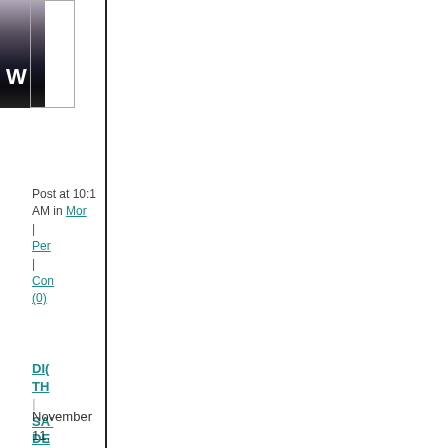[Figure (photo): Cropped photo strip showing a partial image with dark tones and a letter W visible]
Post at 10:1 AM in Mor | Per | Con (0)
DID THE SAYS DE
November 11, 2014